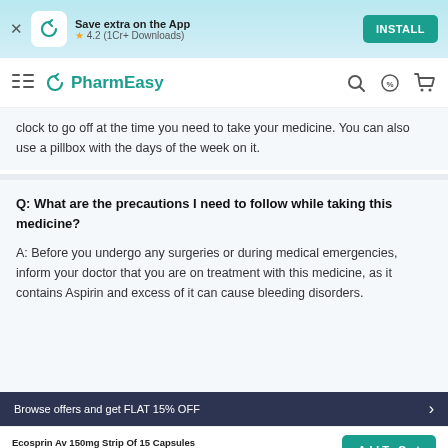Save extra on the App  ★ 4.2 (1Cr+ Downloads)  INSTALL
PharmEasy
clock to go off at the time you need to take your medicine. You can also use a pillbox with the days of the week on it.
Q: What are the precautions I need to follow while taking this medicine?

A: Before you undergo any surgeries or during medical emergencies, inform your doctor that you are on treatment with this medicine, as it contains Aspirin and excess of it can cause bleeding disorders.
Browse offers and get FLAT 15% OFF
Ecosprin Av 150mg Strip Of 15 Capsules ₹47.49 15% OFF  Add To Cart